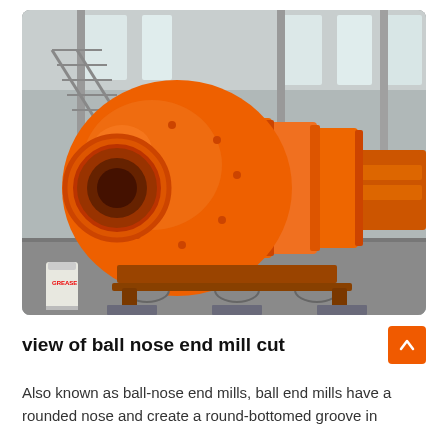[Figure (photo): Large orange ball mill grinding machine sitting on rollers in an industrial factory/warehouse setting. The machine is cylindrical with a large spherical section on the left and ribbed cylindrical sections extending to the right. The structure behind shows concrete pillars and metal staircases.]
view of ball nose end mill cut
Also known as ball-nose end mills, ball end mills have a rounded nose and create a round-bottomed groove in